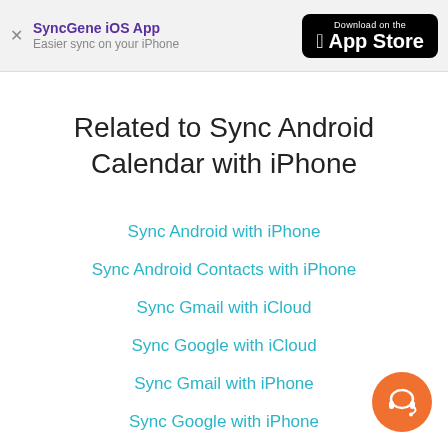SyncGene iOS App – Easier sync on your iPhone – Download on the App Store
Related to Sync Android Calendar with iPhone
Sync Android with iPhone
Sync Android Contacts with iPhone
Sync Gmail with iCloud
Sync Google with iCloud
Sync Gmail with iPhone
Sync Google with iPhone
[Figure (illustration): Orange circular support/headset button in the bottom-right corner]